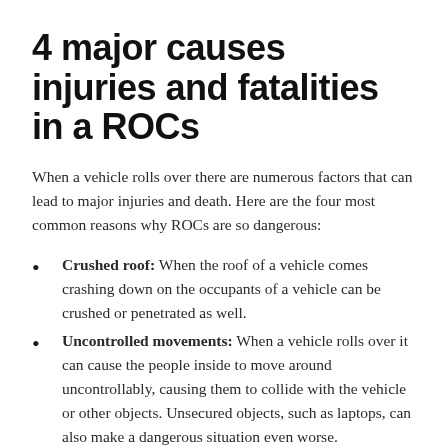4 major causes injuries and fatalities in a ROCs
When a vehicle rolls over there are numerous factors that can lead to major injuries and death. Here are the four most common reasons why ROCs are so dangerous:
Crushed roof: When the roof of a vehicle comes crashing down on the occupants of a vehicle can be crushed or penetrated as well.
Uncontrolled movements: When a vehicle rolls over it can cause the people inside to move around uncontrollably, causing them to collide with the vehicle or other objects. Unsecured objects, such as laptops, can also make a dangerous situation even worse.
Complete ejection: When the driver or passengers...